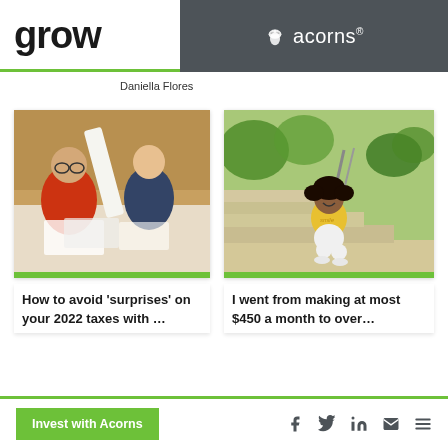grow | acorns®
Daniella Flores
[Figure (photo): Two people looking at a long receipt/paper tape on a table with documents]
How to avoid 'surprises' on your 2022 taxes with …
[Figure (photo): Young woman sitting on outdoor staircase stairs smiling]
I went from making at most $450 a month to over…
Invest with Acorns | Social icons: Facebook, Twitter, LinkedIn, Email, Menu